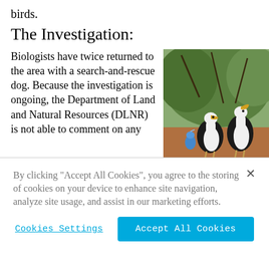birds.
The Investigation:
Biologists have twice returned to the area with a search-and-rescue dog. Because the investigation is ongoing, the Department of Land and Natural Resources (DLNR) is not able to comment on any
[Figure (photo): Two large black and white seabirds (albatrosses) standing on reddish-brown ground in front of green leafy shrubs/trees. A smaller blue bird is visible in the background.]
Photo: Courtesy of
By clicking “Accept All Cookies”, you agree to the storing of cookies on your device to enhance site navigation, analyze site usage, and assist in our marketing efforts.
Cookies Settings
Accept All Cookies